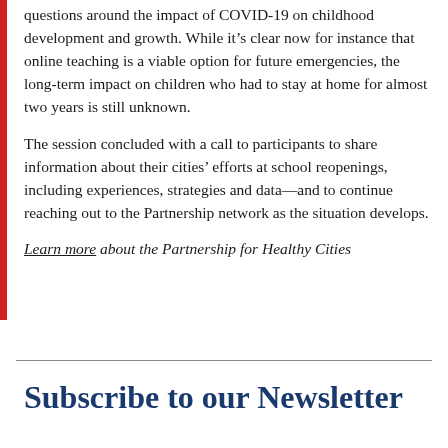questions around the impact of COVID-19 on childhood development and growth. While it's clear now for instance that online teaching is a viable option for future emergencies, the long-term impact on children who had to stay at home for almost two years is still unknown.
The session concluded with a call to participants to share information about their cities' efforts at school reopenings, including experiences, strategies and data—and to continue reaching out to the Partnership network as the situation develops.
Learn more about the Partnership for Healthy Cities
Subscribe to our Newsletter